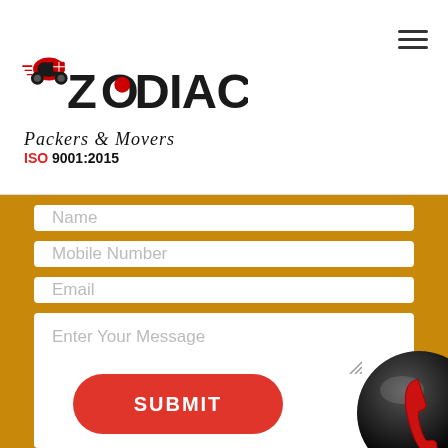[Figure (logo): Zodiac Packers & Movers logo with scooter icon, company name, and ISO 9001:2015 certification text]
Name
Mobile Number
Email
Enter Your Message
[Figure (illustration): Black glossy circle with red telephone handset icon]
SUBMIT